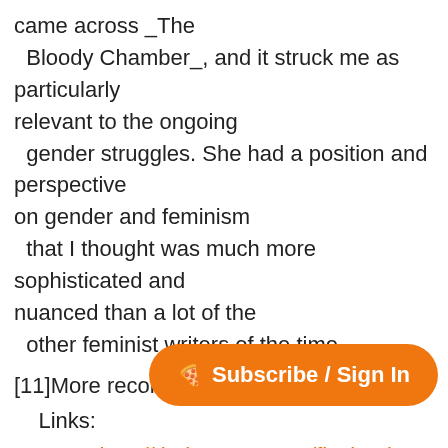came across _The Bloody Chamber_, and it struck me as particularly relevant to the ongoing gender struggles. She had a position and perspective on gender and feminism that I thought was much more sophisticated and nuanced than a lot of the other feminist writers of the time.
[11]More recommendations...
    Links:
        11. http://thebrowser.com/fivebooks
Browsings
[12]emustich Cool inter year-in-review feature http://bit.ly/esLZvMT #browsings [14]